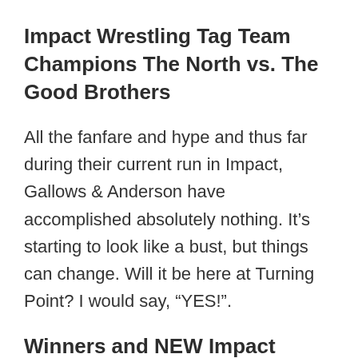Impact Wrestling Tag Team Champions The North vs. The Good Brothers
All the fanfare and hype and thus far during their current run in Impact, Gallows & Anderson have accomplished absolutely nothing. It’s starting to look like a bust, but things can change. Will it be here at Turning Point? I would say, “YES!”.
Winners and NEW Impact Wrestling Tag Team Champions: The Good Brothers, Luke Gallows & Karl Anderson